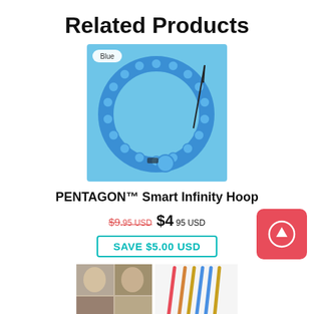Related Products
[Figure (photo): Blue PENTAGON Smart Infinity Hoop product image on light blue background with 'Blue' label badge]
PENTAGON™ Smart Infinity Hoop
$9.95 USD $4.95 USD
SAVE $5.00 USD
[Figure (photo): Collage of hairstyle photos and colorful styling tools/combs]